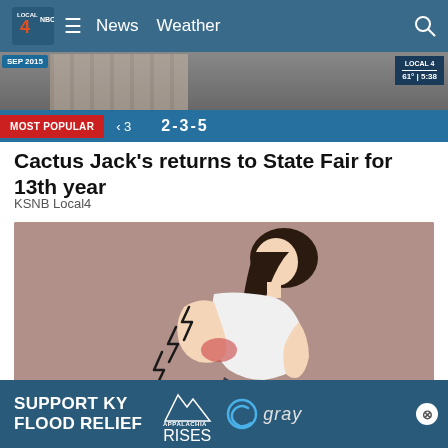LOCAL 4 News Weather
[Figure (screenshot): TV news broadcast screenshot showing scoreboard or game numbers with MOST POPULAR banner and ticker showing '3' and '2-3-5', plus LOCAL 4 61° 5:38 badge]
Cactus Jack's returns to State Fair for 13th year
KSNB Local4
[Figure (illustration): Cartoon illustration of a woman bent over holding her lower back in pain, with lightning bolt symbols indicating pain on a mauve/brown background]
SUPPORT KY FLOOD RELIEF  APPALACHIA RISES  gray